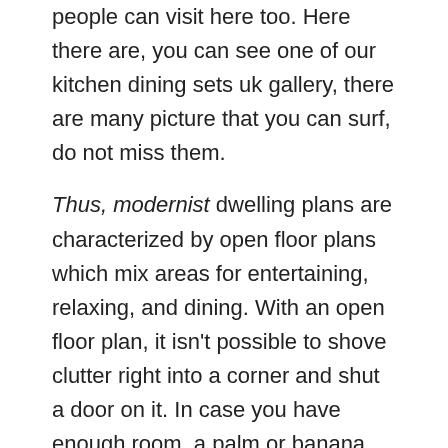people can visit here too. Here there are, you can see one of our kitchen dining sets uk gallery, there are many picture that you can surf, do not miss them.
Thus, modernist dwelling plans are characterized by open floor plans which mix areas for entertaining, relaxing, and dining. With an open floor plan, it isn't possible to shove clutter right into a corner and shut a door on it. In case you have enough room, a palm or banana leaf is great as nook decors. You may also take out the vanity and cabinet doorways and have tribal patterns carved. When you've got translucent glass doorways that lead to the shower space, you might want to add more designs on it like seashells and fishes. You might want to add starfish and gecko designs on shower curtains, cabinets and the vanity. Also few individuals actually right at par with a conventional and